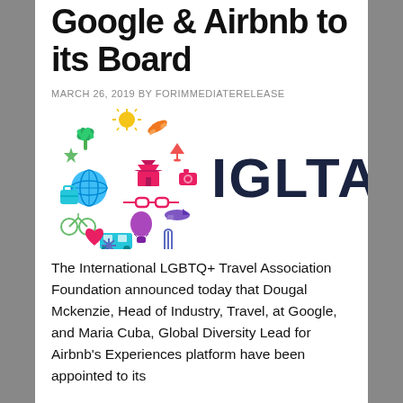Google & Airbnb to its Board
MARCH 26, 2019 BY FORIMMEDIATERELEASE
[Figure (logo): IGLTA logo — a circular arrangement of colorful travel-related icons (rainbow gradient from yellow/red at top to blue/purple at bottom) alongside the bold dark navy text 'IGLTA']
The International LGBTQ+ Travel Association Foundation announced today that Dougal Mckenzie, Head of Industry, Travel, at Google, and Maria Cuba, Global Diversity Lead for Airbnb's Experiences platform have been appointed to its